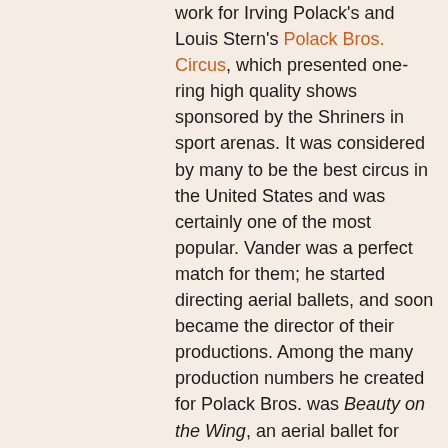work for Irving Polack's and Louis Stern's Polack Bros. Circus, which presented one-ring high quality shows sponsored by the Shriners in sport arenas. It was considered by many to be the best circus in the United States and was certainly one of the most popular. Vander was a perfect match for them; he started directing aerial ballets, and soon became the director of their productions. Among the many production numbers he created for Polack Bros. was Beauty on the Wing, an aerial ballet for which the aerialists were hanging by their teeth, donning butterfly wings—shades of Erfords' Whirling Sensation…
He worked also for the Clyde Beatty Circus, which, apart from his star-director, was not in the same league. There, he was caught one day feeding a bonfire with the Circus's old, second-string aerial costumes; alerted, Beatty